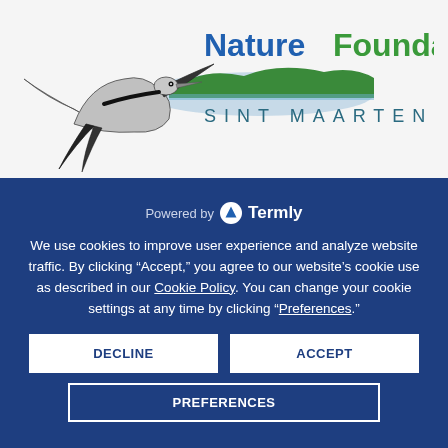[Figure (logo): Nature Foundation Sint Maarten logo with a frigate bird and island silhouette. Text reads 'Nature Foundation' in blue and green, and 'SINT MAARTEN' in teal spaced letters below.]
Powered by Termly
We use cookies to improve user experience and analyze website traffic. By clicking “Accept,” you agree to our website’s cookie use as described in our Cookie Policy. You can change your cookie settings at any time by clicking “Preferences.”
DECLINE
ACCEPT
PREFERENCES